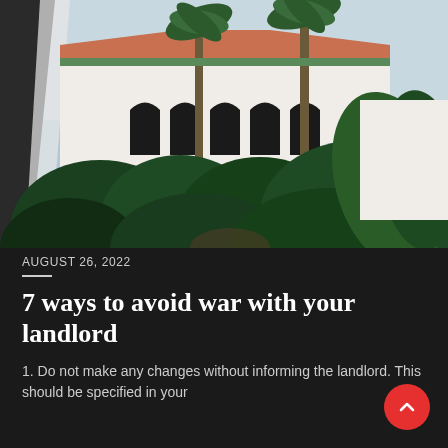[Figure (photo): Photograph of a Moroccan-style riad courtyard with lush tropical greenery, white arched architecture, terracotta roof tiles, and tall palm trees, viewed through a draped white curtain on the left.]
AUGUST 26, 2022
7 ways to avoid war with your landlord
1. Do not make any changes without informing the landlord. This should be specified in your